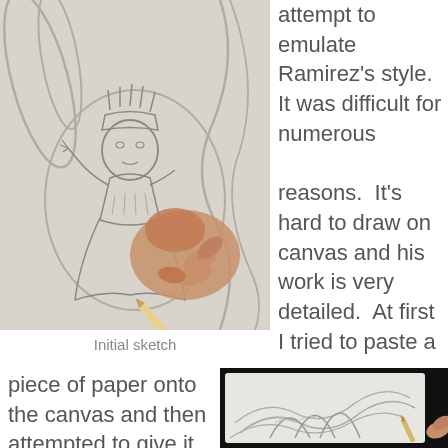[Figure (photo): A hand holding a pencil drawing a sketch of a crowned figure (queen/king character) on paper with flowing decorative background elements.]
Initial sketch
attempt to emulate Ramirez's style.  It was difficult for numerous

reasons.  It's hard to draw on canvas and his work is very detailed.  At first I tried to paste a
piece of paper onto the canvas and then attempted to give it a
[Figure (photo): A pencil sketching decorative swirling line patterns on a white canvas, photographed against a dark background.]